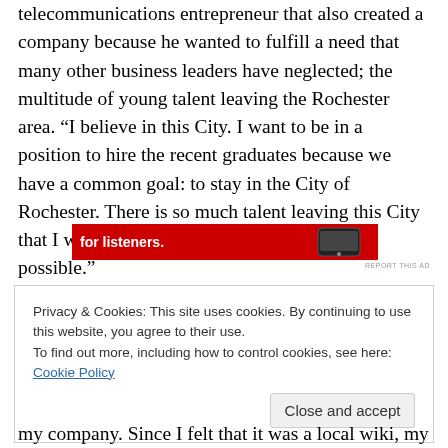telecommunications entrepreneur that also created a company because he wanted to fulfill a need that many other business leaders have neglected; the multitude of young talent leaving the Rochester area. “I believe in this City. I want to be in a position to hire the recent graduates because we have a common goal: to stay in the City of Rochester. There is so much talent leaving this City that I want to hold on to as many people as possible.”
[Figure (other): Red advertisement banner with white bold text 'for listeners.' and an image of a mobile device on the right side]
REPORT THIS AD
Privacy & Cookies: This site uses cookies. By continuing to use this website, you agree to their use.
To find out more, including how to control cookies, see here: Cookie Policy
Close and accept
my company. Since I felt that it was a local wiki, my